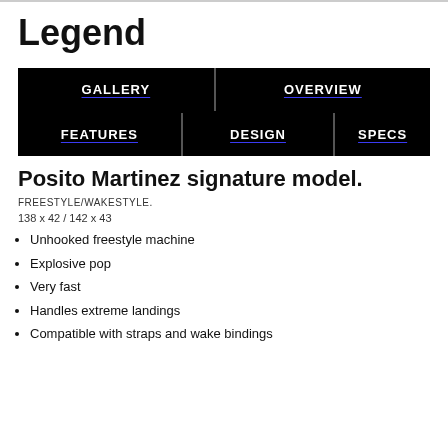Legend
[Figure (screenshot): Navigation tabs showing GALLERY, OVERVIEW, FEATURES, DESIGN, SPECS on black background with blue underlines]
Posito Martinez signature model.
FREESTYLE/WAKESTYLE.
138 x 42 / 142 x 43
Unhooked freestyle machine
Explosive pop
Very fast
Handles extreme landings
Compatible with straps and wake bindings